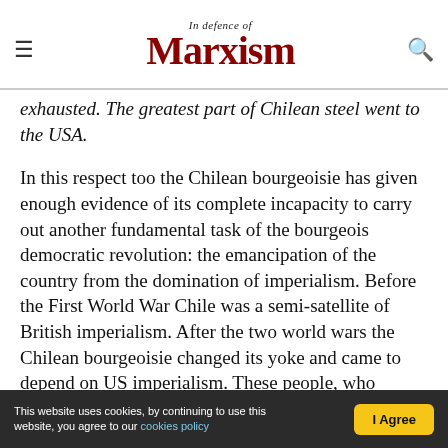In defence of Marxism
exhausted. The greatest part of Chilean steel went to the USA.
In this respect too the Chilean bourgeoisie has given enough evidence of its complete incapacity to carry out another fundamental task of the bourgeois democratic revolution: the emancipation of the country from the domination of imperialism. Before the First World War Chile was a semi-satellite of British imperialism. After the two world wars the Chilean bourgeoisie changed its yoke and came to depend on US imperialism. These people, who nowadays talk so much about the "country"
This website uses cookies, by continuing to use this website, you agree to our cookies policy  |  I Agree